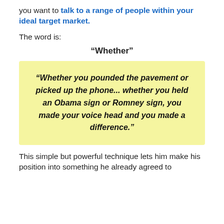you want to talk to a range of people within your ideal target market.
The word is:
“Whether”
“Whether you pounded the pavement or picked up the phone... whether you held an Obama sign or Romney sign, you made your voice head and you made a difference.”
This simple but powerful technique lets him make his position into something he already agreed to